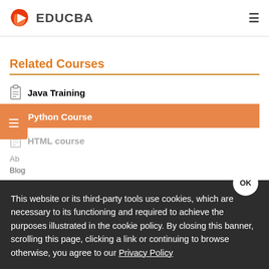EDUCBA
Related Courses
Java Training
Online Python Course
HTML course
Ab...
Blog
This website or its third-party tools use cookies, which are necessary to its functioning and required to achieve the purposes illustrated in the cookie policy. By closing this banner, scrolling this page, clicking a link or continuing to browse otherwise, you agree to our Privacy Policy